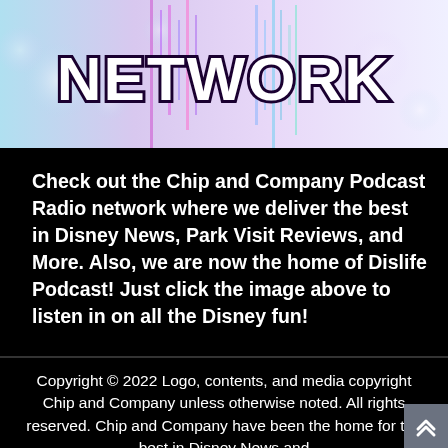[Figure (illustration): Top banner image for Chip and Company Podcast Radio Network — shows the word NETWORK in large bold white letters with a dark outline, on a colorful background with light bokeh effects and vertical colored streaks (pink, purple, blue, green).]
Check out the Chip and Company Podcast Radio network where we deliver the best in Disney News, Park Visit Reviews, and More. Also, we are now the home of Dislife Podcast! Just click the image above to listen in on all the Disney fun!
Copyright © 2022 Logo, contents, and media copyright Chip and Company unless otherwise noted. All rights reserved. Chip and Company have been the home for the best in Disney News and